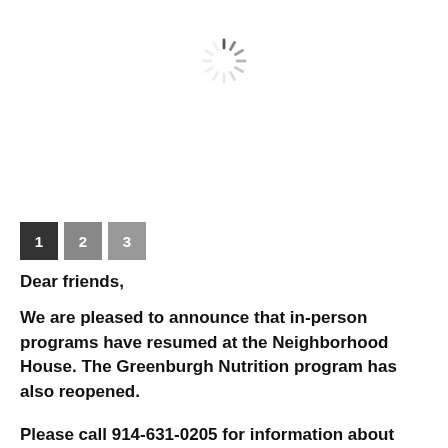[Figure (other): Loading spinner icon (sun/wheel style) centered near top of page]
1  2  3
Dear friends,
We are pleased to announce that in-person programs have resumed at the Neighborhood House. The Greenburgh Nutrition program has also reopened.
Please call 914-631-0205 for information about Neighborhood House programs.